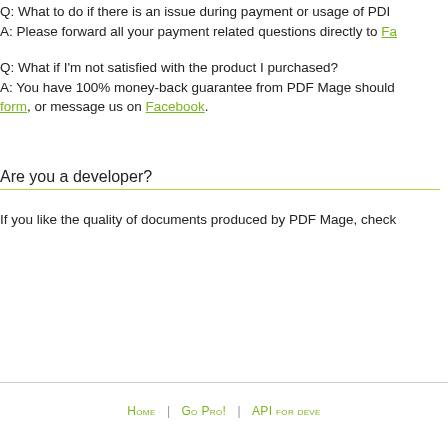Q: What to do if there is an issue during payment or usage of PDF…
A: Please forward all your payment related questions directly to Fa…
Q: What if I'm not satisfied with the product I purchased?
A: You have 100% money-back guarantee from PDF Mage should… form, or message us on Facebook.
Are you a developer?
If you like the quality of documents produced by PDF Mage, check…
Home | Go Pro! | API for deve…